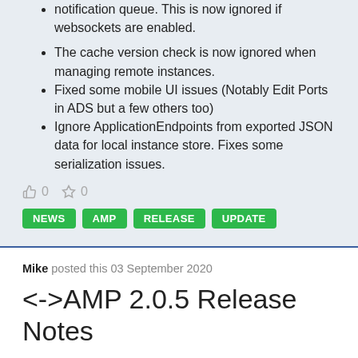notification queue. This is now ignored if websockets are enabled.
The cache version check is now ignored when managing remote instances.
Fixed some mobile UI issues (Notably Edit Ports in ADS but a few others too)
Ignore ApplicationEndpoints from exported JSON data for local instance store. Fixes some serialization issues.
0  0
NEWS  AMP  RELEASE  UPDATE
Mike posted this 03 September 2020
<->AMP 2.0.5 Release Notes
Like previous, this release mostly focuses on ADS and Enterprise-level functionality with only minor changes for game modules.
Notable fixes include AMP clustering with Roo...